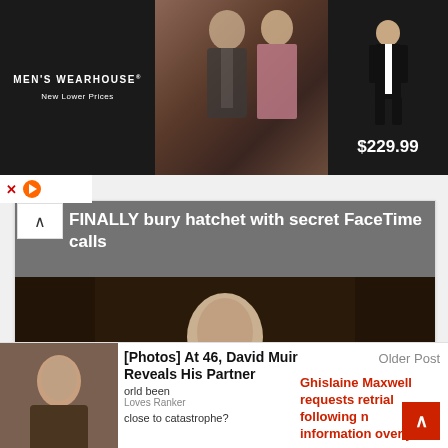[Figure (photo): Men's Wearhouse advertisement banner showing couple in formal wear and man in tuxedo, priced at $229.99]
FINALLY bury hatchet with secret FaceTime calls
[Figure (photo): Photograph of Winston Churchill seated at a desk]
Artist suggests we should bury statues such as Churchill so we 'look down upon them'
[Photos] At 46, David Muir Reveals His Partner
orld been Loves Ranker
close to catastrophe?
Older Post
Ghislaine Maxwell requests retrial following new information over juror